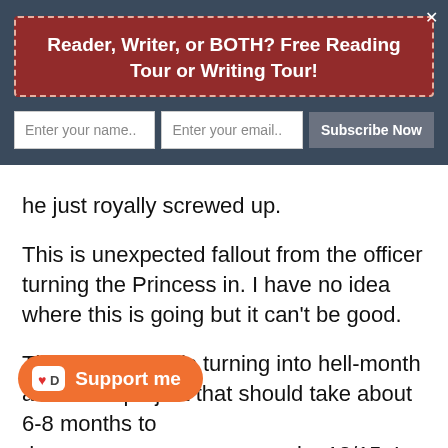Reader, Writer, or BOTH? Free Reading Tour or Writing Tour!
he just royally screwed up.
This is unexpected fallout from the officer turning the Princess in. I have no idea where this is going but it can't be good.
The next month is turning into hell-month at work. A project that should take about 6-8 months to do ne by 12/15. I was actually scheduled to have been working on this project for